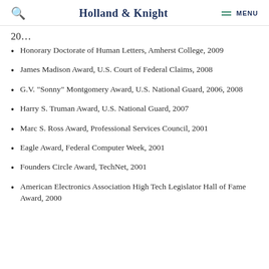Holland & Knight — MENU
Honorary Doctorate of Human Letters, Amherst College, 2009
James Madison Award, U.S. Court of Federal Claims, 2008
G.V. "Sonny" Montgomery Award, U.S. National Guard, 2006, 2008
Harry S. Truman Award, U.S. National Guard, 2007
Marc S. Ross Award, Professional Services Council, 2001
Eagle Award, Federal Computer Week, 2001
Founders Circle Award, TechNet, 2001
American Electronics Association High Tech Legislator Hall of Fame Award, 2000